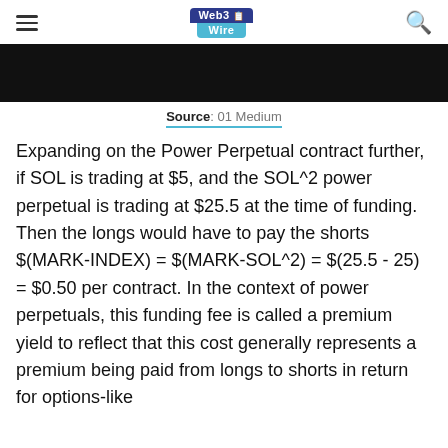Web3 Wire
[Figure (photo): Dark/black hero image banner at top of article]
Source: 01 Medium
Expanding on the Power Perpetual contract further, if SOL is trading at $5, and the SOL^2 power perpetual is trading at $25.5 at the time of funding. Then the longs would have to pay the shorts $(MARK-INDEX) = $(MARK-SOL^2) = $(25.5 - 25) = $0.50 per contract. In the context of power perpetuals, this funding fee is called a premium yield to reflect that this cost generally represents a premium being paid from longs to shorts in return for options-like